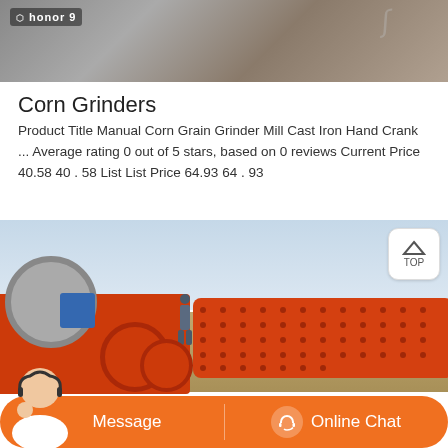[Figure (photo): Top portion of a photo showing a person outdoors, with Honor 9 phone watermark/badge overlay in top-left corner]
Corn Grinders
Product Title Manual Corn Grain Grinder Mill Cast Iron Hand Crank ... Average rating 0 out of 5 stars, based on 0 reviews Current Price 40.58 40 . 58 List List Price 64.93 64 . 93
[Figure (photo): Industrial orange grinding/ball mill machine outdoors with a worker standing on it, blue sky in background. A TOP navigation button is overlaid in the top-right corner.]
[Figure (screenshot): Orange chat bar at the bottom with a customer service avatar, Message button on left and Online Chat button on right with headset icon]